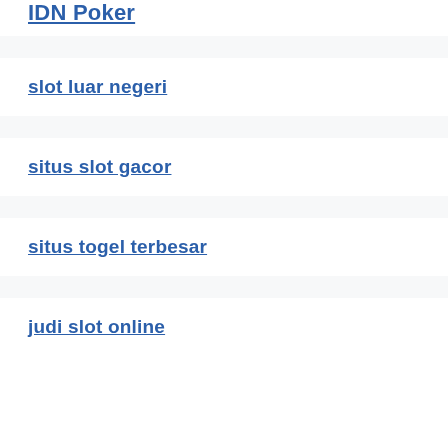IDN Poker
slot luar negeri
situs slot gacor
situs togel terbesar
judi slot online